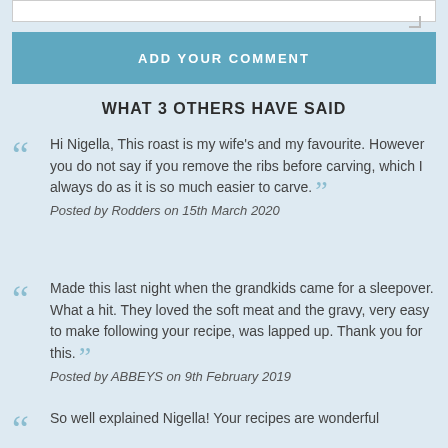[Figure (other): Text input box (comment entry area) with resize handle]
ADD YOUR COMMENT
WHAT 3 OTHERS HAVE SAID
Hi Nigella, This roast is my wife's and my favourite. However you do not say if you remove the ribs before carving, which I always do as it is so much easier to carve.
Posted by Rodders on 15th March 2020
Made this last night when the grandkids came for a sleepover. What a hit. They loved the soft meat and the gravy, very easy to make following your recipe, was lapped up. Thank you for this.
Posted by ABBEYS on 9th February 2019
So well explained Nigella! Your recipes are wonderful